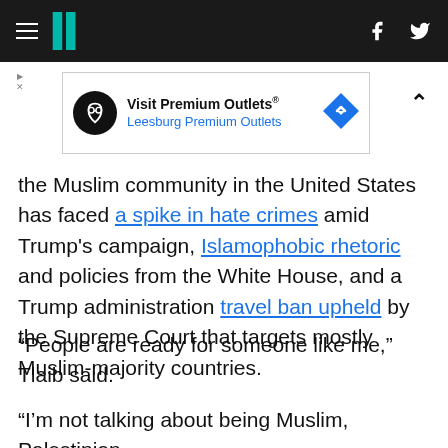HuffPost navigation header with hamburger menu, logo, Facebook and Twitter icons
[Figure (other): Advertisement banner for Visit Premium Outlets - Leesburg Premium Outlets]
the Muslim community in the United States has faced a spike in hate crimes amid Trump's campaign, Islamophobic rhetoric and policies from the White House, and a Trump administration travel ban upheld by the Supreme Court that targets mostly Muslim-majority countries.
“People are ready for someone like me,” Tlaib said.
“I’m not talking about being Muslim, Palestinian,